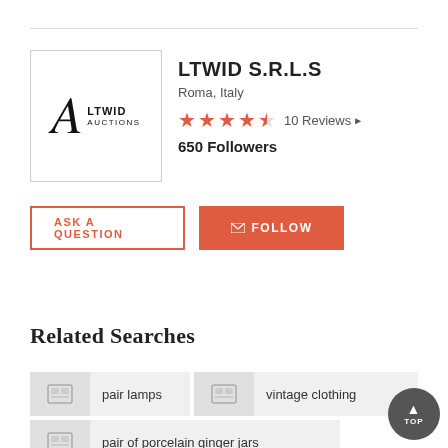[Figure (logo): LTWID Auctions logo — stylized letter A with LTWID AUCTIONS text]
LTWID S.R.L.S
Roma, Italy
4.5 stars — 10 Reviews
650 Followers
ASK A QUESTION
✉ FOLLOW
Related Searches
pair lamps
vintage clothing
pair of porcelain ginger jars